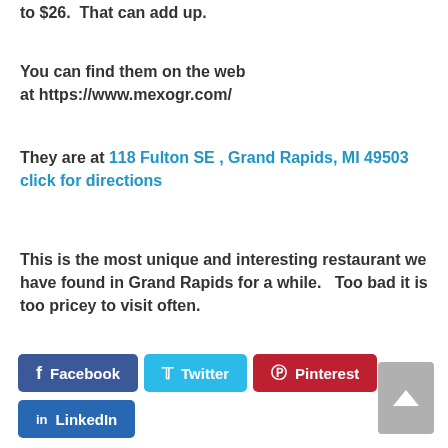to $26.  That can add up.
You can find them on the web at https://www.mexogr.com/
They are at 118 Fulton SE , Grand Rapids, MI 49503 click for directions
This is the most unique and interesting restaurant we have found in Grand Rapids for a while.   Too bad it is too pricey to visit often.